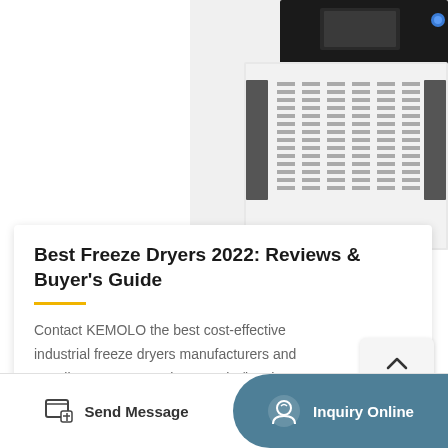[Figure (photo): Industrial freeze dryer machine - white metal casing with ventilation grilles, black top panel with display screen and blue indicator. Machine is partially cropped, showing front and top.]
Best Freeze Dryers 2022: Reviews & Buyer's Guide
Contact KEMOLO the best cost-effective industrial freeze dryers manufacturers and suppliers. Input capacity: 1200kg/batch. Chamber dimension: 10060*2600*3200mm. WhatsApp: +8615380024001.
Send Message
Inquiry Online